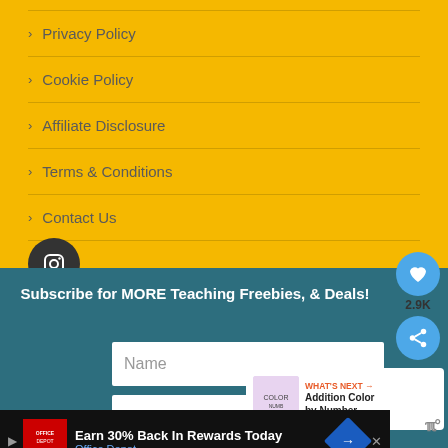Privacy Policy
Cookie Policy
Affiliate Disclosure
Terms & Conditions
Contact Us
Subscribe for MORE Teaching Freebies, & Deals!
Name
Email
2.9K
WHAT'S NEXT → Addition Color by Number...
Earn 30% Back In Rewards Today
Office Depot